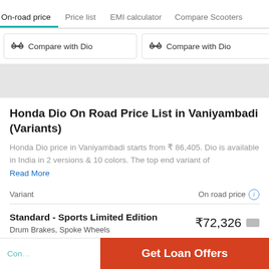On-road price | Price list | EMI calculator | Compare Scooters
Compare with Dio | Compare with Dio
Honda Dio On Road Price List in Vaniyambadi (Variants)
Honda Dio price in Vaniyambadi starts from ₹ 86,405. Dio is available in India in 2 versions & 10 colors. The top end variant of
Read More
| Variant | On road price |
| --- | --- |
| Standard - Sports Limited Edition
Drum Brakes, Spoke Wheels | ₹72,326 |
Get Loan Offers